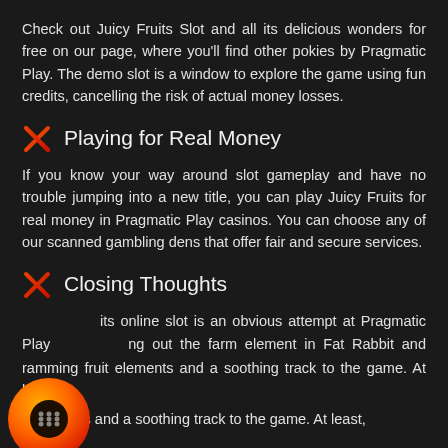Check out Juicy Fruits Slot and all its delicious wonders for free on our page, where you'll find other pokies by Pragmatic Play. The demo slot is a window to explore the game using fun credits, cancelling the risk of actual money losses.
Playing for Real Money
If you know your way around slot gameplay and have no trouble jumping into a new title, you can play Juicy Fruits for real money in Pragmatic Play casinos. You can choose any of our scanned gambling dens that offer fair and secure services.
Closing Thoughts
Juicy Fruits online slot is an obvious attempt at Pragmatic Play...ing out the farm element in Fat Rabbit and ramming fruit elements and a soothing track to the game. At least, the...